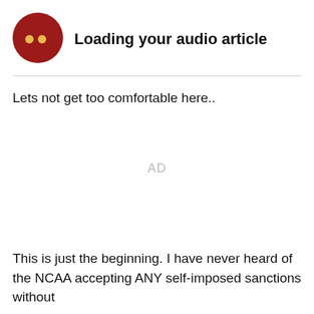[Figure (logo): Dark red circle with two yellow dots (audio/loading indicator icon)]
Loading your audio article
Lets not get too comfortable here..
AD
This is just the beginning. I have never heard of the NCAA accepting ANY self-imposed sanctions without